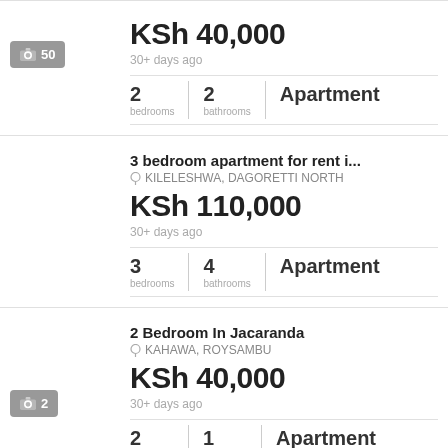KSh 40,000
30+ days ago
2 bedrooms | 2 bathrooms | Apartment | 50 photos
3 bedroom apartment for rent i...
KILELESHWA, DAGORETTI NORTH
KSh 110,000
30+ days ago
3 bedrooms | 4 bathrooms | Apartment
2 Bedroom In Jacaranda
KAHAWA, ROYSAMBU
KSh 40,000
30+ days ago
2 rooms | 1 bathroom | Apartment | 2 photos